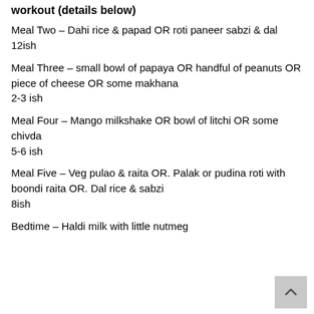workout (details below)
Meal Two – Dahi rice & papad OR roti paneer sabzi & dal
12ish
Meal Three – small bowl of papaya OR handful of peanuts OR piece of cheese OR some makhana
2-3 ish
Meal Four – Mango milkshake OR bowl of litchi OR some chivda
5-6 ish
Meal Five – Veg pulao & raita OR. Palak or pudina roti with boondi raita OR. Dal rice & sabzi
8ish
Bedtime – Haldi milk with little nutmeg